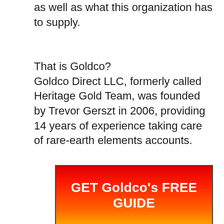as well as what this organization has to supply.
That is Goldco?
Goldco Direct LLC, formerly called Heritage Gold Team, was founded by Trevor Gerszt in 2006, providing 14 years of experience taking care of rare-earth elements accounts.
[Figure (other): Red to gold gradient button with text GET Goldco's FREE GUIDE in white bold letters]
During this time around, Goldco Precious Metals has actually increased its account schedule. It has additionally acquired several evaluations of its solutions from clients and